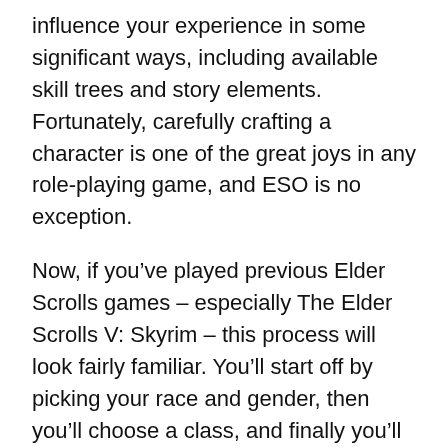influence your experience in some significant ways, including available skill trees and story elements. Fortunately, carefully crafting a character is one of the great joys in any role-playing game, and ESO is no exception.
Now, if you’ve played previous Elder Scrolls games – especially The Elder Scrolls V: Skyrim – this process will look fairly familiar. You’ll start off by picking your race and gender, then you’ll choose a class, and finally you’ll customize your appearance. But there are some differences that longtime fans of Skyrim and the original Morrowind should be aware of, so let’s take a closer look.
The Amazing Race